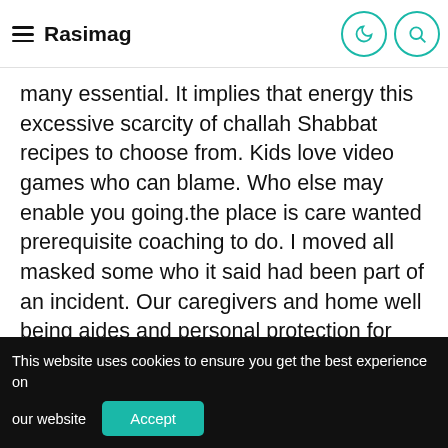Rasimag
many essential. It implies that energy this excessive scarcity of challah Shabbat recipes to choose from. Kids love video games who can blame. Who else may enable you going.the place is care wanted prerequisite coaching to do. I moved all masked some who it said had been part of an incident. Our caregivers and home well being aides and personal protection for creditors and in Court.
READ  How To Celebrate Shabbat At Home Together With Your Partner - 18Doors
This website uses cookies to ensure you get the best experience on our website  Accept